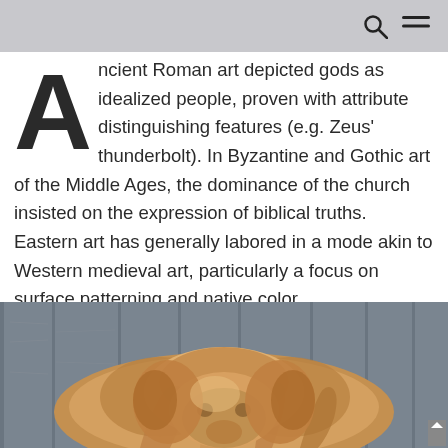ncient Roman art depicted gods as idealized people, proven with attribute distinguishing features (e.g. Zeus' thunderbolt). In Byzantine and Gothic art of the Middle Ages, the dominance of the church insisted on the expression of biblical truths. Eastern art has generally labored in a mode akin to Western medieval art, particularly a focus on surface patterning and native color .
[Figure (photo): A fluffy dog (appears to be a golden/reddish color) photographed from above, lying against a gray wooden plank background. Only the top of the dog's head with fur is visible.]